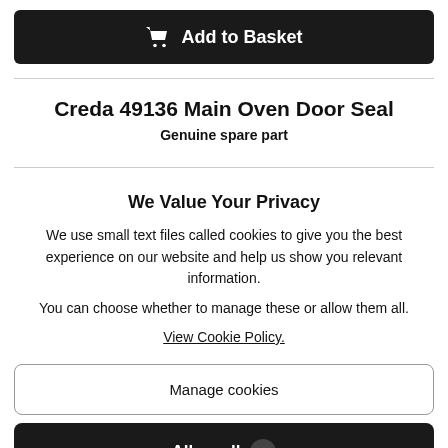Add to Basket
Creda 49136 Main Oven Door Seal
Genuine spare part
We Value Your Privacy
We use small text files called cookies to give you the best experience on our website and help us show you relevant information.
You can choose whether to manage these or allow them all.
View Cookie Policy.
Manage cookies
Allow all